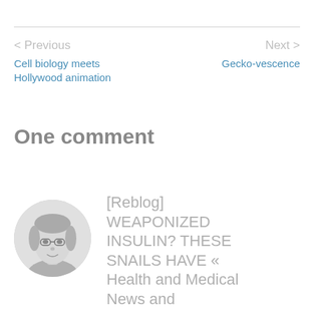< Previous
Cell biology meets Hollywood animation
Next >
Gecko-vescence
One comment
[Figure (photo): Black and white circular avatar photo of an older woman with glasses and short gray hair]
[Reblog] WEAPONIZED INSULIN? THESE SNAILS HAVE « Health and Medical News and